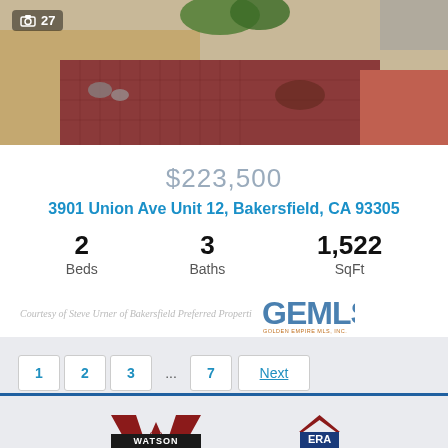[Figure (photo): Exterior photo of property showing tiled walkway, decorative rocks, and landscaping]
27
$223,500
3901 Union Ave Unit 12, Bakersfield, CA 93305
2 Beds  3 Baths  1,522 SqFt
Courtesy of Steve Urner of Bakersfield Preferred Properti
[Figure (logo): GEMLS Golden Empire MLS Inc logo]
1  2  3  ...  7  Next
[Figure (logo): Watson Realty logo with ERA Real Estate logo]
Team Padilla - Watson Realty